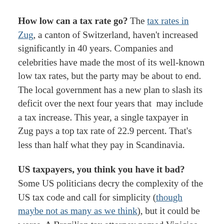How low can a tax rate go? The tax rates in Zug, a canton of Switzerland, haven't increased significantly in 40 years. Companies and celebrities have made the most of its well-known low tax rates, but the party may be about to end.  The local government has a new plan to slash its deficit over the next four years that  may include a tax increase. This year, a single taxpayer in Zug pays a top tax rate of 22.9 percent. That's less than half what they pay in Scandinavia.
US taxpayers, you think you have it bad? Some US politicians decry the complexity of the US tax code and call for simplicity (though maybe not as many as we think), but it could be worse. A Brazilian tax attorney named Vinicios Leoncio spent 23 years writing a 41,200-page book, called Beloved Monster, that documents Brazil's confusingly...